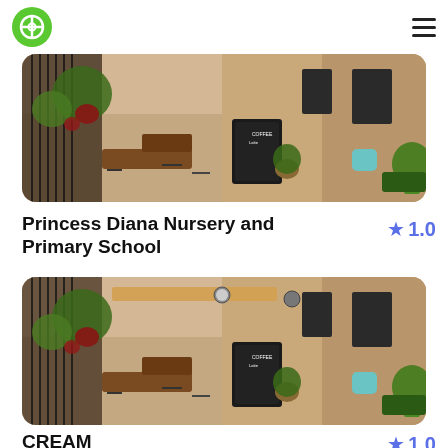[Figure (logo): Green circular logo with white crosshair/target icon]
[Figure (photo): Outdoor cafe/restaurant terrace with iron railings, plants, chalkboard menu signs, tables and chairs, warm building facade in background]
Princess Diana Nursery and Primary School
★ 1.0
[Figure (photo): Outdoor cafe/restaurant terrace with iron railings, plants, chalkboard menu signs, tables and chairs, warm building facade in background]
CREAM